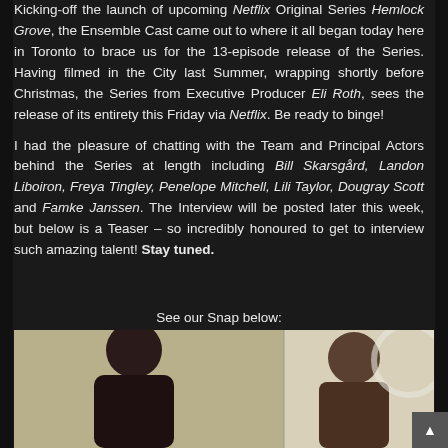Kicking-off the launch of upcoming Netflix Original Series Hemlock Grove, the Ensemble Cast came out to where it all began today here in Toronto to brace us for the 13-episode release of the Series. Having filmed in the City last Summer, wrapping shortly before Christmas, the Series from Executive Producer Eli Roth, sees the release of its entirety this Friday via Netflix. Be ready to binge!

I had the pleasure of chatting with the Team and Principal Actors behind the Series at length including Bill Skarsgård, Landon Liboiron, Freya Tingley, Penelope Mitchell, Lili Taylor, Dougray Scott and Famke Janssen. The Interview will be posted later this week, but below is a Teaser – so incredibly honoured to get to interview such amazing talent! Stay tuned.
See our Snap below:
[Figure (photo): Photo showing two people, a woman on the left with dark hair and a man on the right, photographed indoors. The image appears to be a casual interview photo with a light-colored wall and decorative element visible in the background.]